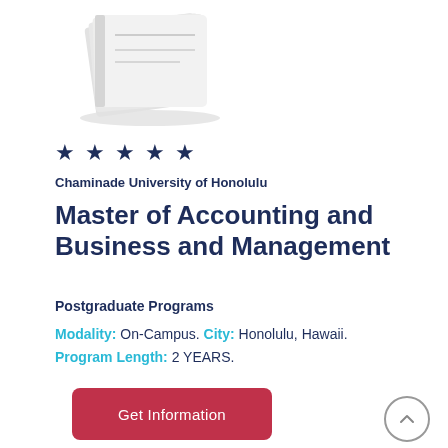[Figure (illustration): Stylized gray book/stack-of-books icon at the top of the card]
★ ★ ★ ★ ★
Chaminade University of Honolulu
Master of Accounting and Business and Management
Postgraduate Programs
Modality: On-Campus. City: Honolulu, Hawaii.
Program Length: 2 YEARS.
Get Information